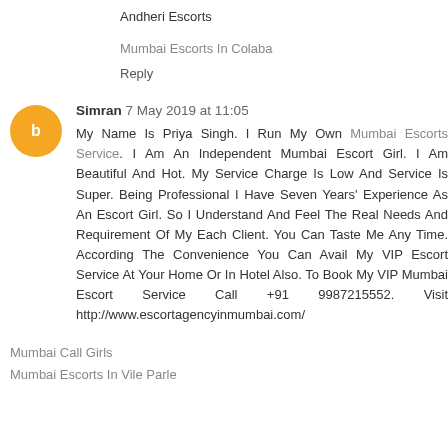Juhu Escorts
Andheri Escorts
Mumbai Escorts In Colaba
Reply
Simran 7 May 2019 at 11:05
My Name Is Priya Singh. I Run My Own Mumbai Escorts Service. I Am An Independent Mumbai Escort Girl. I Am Beautiful And Hot. My Service Charge Is Low And Service Is Super. Being Professional I Have Seven Years' Experience As An Escort Girl. So I Understand And Feel The Real Needs And Requirement Of My Each Client. You Can Taste Me Any Time. According The Convenience You Can Avail My VIP Escort Service At Your Home Or In Hotel Also. To Book My VIP Mumbai Escort Service Call +91 9987215552. Visit http://www.escortagencyinmumbai.com/
Mumbai Call Girls
Mumbai Escorts In Vile Parle